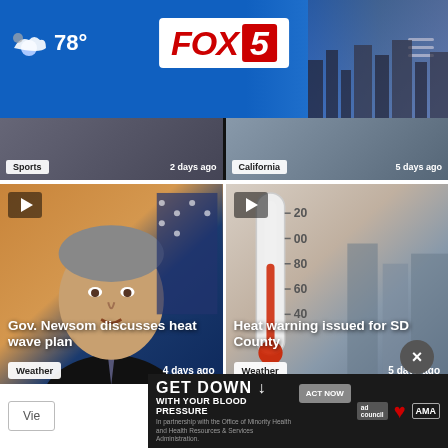FOX 5 · 78°
Sports · 2 days ago
California · 5 days ago
[Figure (photo): Gov. Newsom discusses heat wave plan - video thumbnail with play button, Weather tag, 4 days ago]
Gov. Newsom discusses heat wave plan
[Figure (photo): Heat warning issued for SD County - thermometer photo with play button, Weather tag, 5 days ago]
Heat warning issued for SD County
GET DOWN ↓ WITH YOUR BLOOD PRESSURE · In partnership with the Office of Minority Health and Health Resources & Services Administration. · ACT NOW